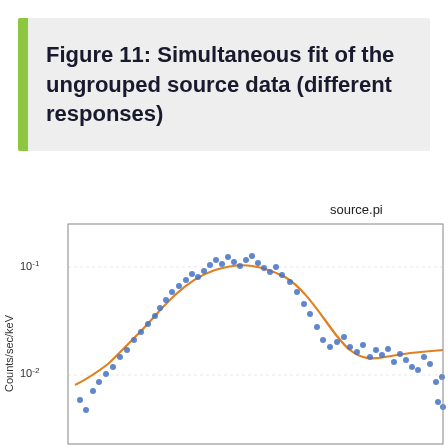Figure 11: Simultaneous fit of the ungrouped source data (different responses)
[Figure (continuous-plot): Scatter plot with fitted curve showing X-ray spectral data. Blue dots represent observed counts/sec/keV data points from source.pi. An orange fitted model curve overlays the data, showing a broad peak around the middle energy range. Y-axis is logarithmic from 10^-2 to 10^-1 (Counts/sec/keV). The plot is partially cut off at the bottom.]